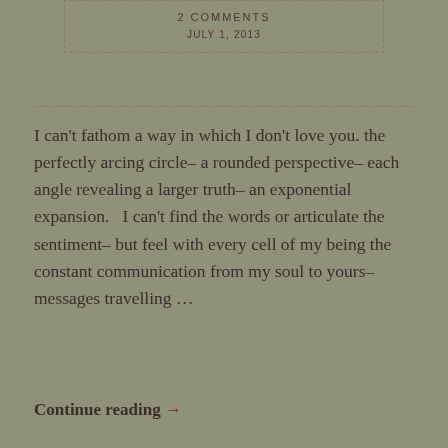2 COMMENTS
JULY 1, 2013
I can't fathom a way in which I don't love you. the perfectly arcing circle– a rounded perspective– each angle revealing a larger truth– an exponential expansion.   I can't find the words or articulate the sentiment– but feel with every cell of my being the constant communication from my soul to yours– messages travelling …
Continue reading →